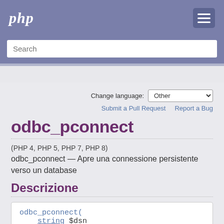php
Search
Change language: Other
Submit a Pull Request   Report a Bug
odbc_pconnect
(PHP 4, PHP 5, PHP 7, PHP 8)
odbc_pconnect — Apre una connessione persistente verso un database
Descrizione
odbc_pconnect(
    string $dsn